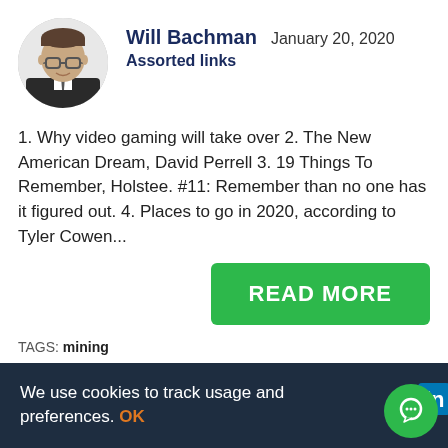[Figure (photo): Headshot of Will Bachman, a man wearing glasses and a dark suit]
Will Bachman   January 20, 2020
Assorted links
1. Why video gaming will take over 2. The New American Dream, David Perrell 3. 19 Things To Remember, Holstee. #11: Remember than no one has it figured out. 4. Places to go in 2020, according to Tyler Cowen...
READ MORE
TAGS: mining
We use cookies to track usage and preferences. OK